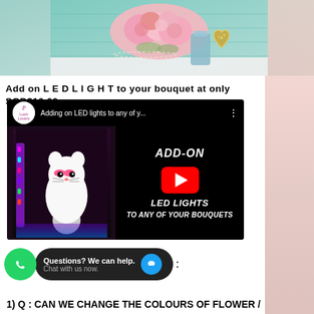[Figure (photo): Photo of pink roses and a gold heart decoration on a teal wooden background]
Add on  L E D  L I G H T to your bouquet at only SGD$10.00
[Figure (screenshot): YouTube video thumbnail showing LED lights add-on to bouquets, with Plush Lovers logo, title 'Adding on LED lights to any of y...', ADD-ON LED LIGHTS TO ANY OF YOUR BOUQUETS text, and YouTube play button]
[Figure (photo): WhatsApp circle icon (green) and chat bubble saying 'Questions? We can help. Chat with us now.' with blue chat icon]
1) Q : CAN WE CHANGE THE COLOURS OF FLOWER /